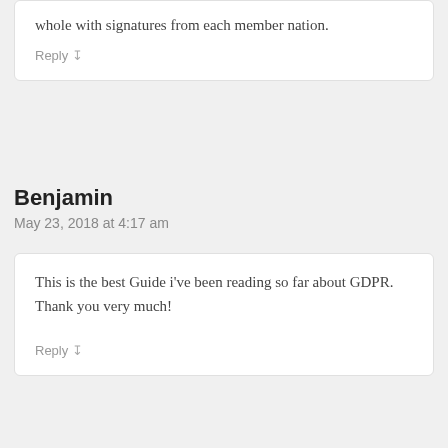whole with signatures from each member nation.
Reply
Benjamin
May 23, 2018 at 4:17 am
This is the best Guide i've been reading so far about GDPR. Thank you very much!
Reply